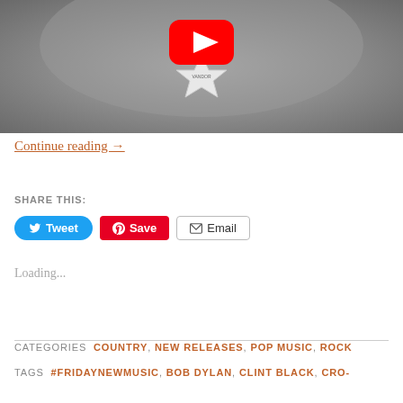[Figure (screenshot): YouTube video thumbnail showing a black and white image of a star-shaped pendant/charm with a YouTube play button overlay in red and white. The star appears to have text on it and is held against a blurred water background.]
Continue reading →
SHARE THIS:
Tweet   Save   Email
Loading...
CATEGORIES  COUNTRY, NEW RELEASES, POP MUSIC, ROCK
TAGS  #FRIDAYNEWMUSIC, BOB DYLAN, CLINT BLACK, CRO-